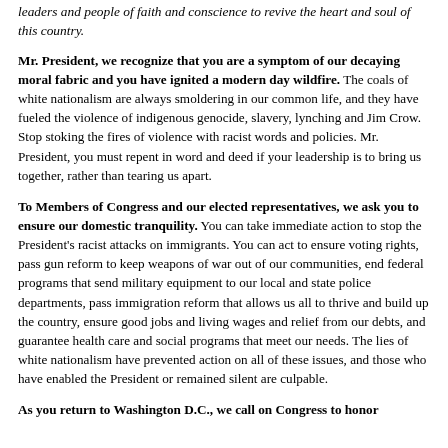leaders and people of faith and conscience to revive the heart and soul of this country.
Mr. President, we recognize that you are a symptom of our decaying moral fabric and you have ignited a modern day wildfire. The coals of white nationalism are always smoldering in our common life, and they have fueled the violence of indigenous genocide, slavery, lynching and Jim Crow. Stop stoking the fires of violence with racist words and policies. Mr. President, you must repent in word and deed if your leadership is to bring us together, rather than tearing us apart.
To Members of Congress and our elected representatives, we ask you to ensure our domestic tranquility. You can take immediate action to stop the President's racist attacks on immigrants. You can act to ensure voting rights, pass gun reform to keep weapons of war out of our communities, end federal programs that send military equipment to our local and state police departments, pass immigration reform that allows us all to thrive and build up the country, ensure good jobs and living wages and relief from our debts, and guarantee health care and social programs that meet our needs. The lies of white nationalism have prevented action on all of these issues, and those who have enabled the President or remained silent are culpable.
As you return to Washington D.C., we call on Congress to honor...